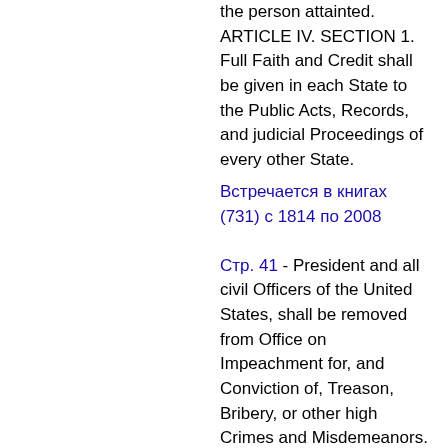the person attainted. ARTICLE IV. SECTION 1. Full Faith and Credit shall be given in each State to the Public Acts, Records, and judicial Proceedings of every other State.
Встречается в книгах (731) с 1814 по 2008
Стр. 41 - President and all civil Officers of the United States, shall be removed from Office on Impeachment for, and Conviction of, Treason, Bribery, or other high Crimes and Misdemeanors. ARTICLE III Section 1. The judicial Power of the United States shall be vested in one supreme